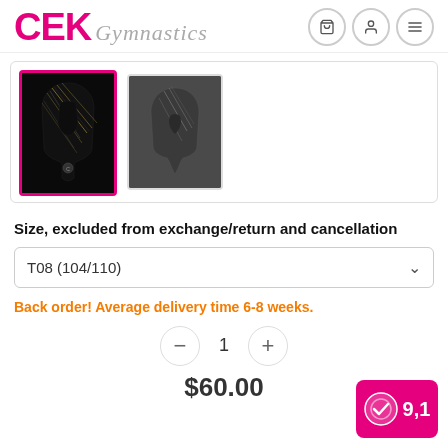[Figure (logo): CEK Gymnastics logo with navigation icons (cart, user, menu)]
[Figure (photo): Two product thumbnail images of a gymnastics leotard - front view selected (pink border) and back view]
Size, excluded from exchange/return and cancellation
T08 (104/110)
Back order! Average delivery time 6-8 weeks.
1
$60.00
[Figure (logo): Review badge showing score 9,1 on pink background with checkmark icon]